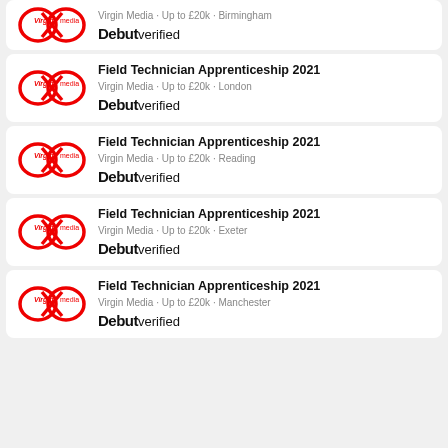Field Technician Apprenticeship 2021 · Virgin Media · Up to £20k · Birmingham · Debut verified
Field Technician Apprenticeship 2021 · Virgin Media · Up to £20k · London · Debut verified
Field Technician Apprenticeship 2021 · Virgin Media · Up to £20k · Reading · Debut verified
Field Technician Apprenticeship 2021 · Virgin Media · Up to £20k · Exeter · Debut verified
Field Technician Apprenticeship 2021 · Virgin Media · Up to £20k · Manchester · Debut verified